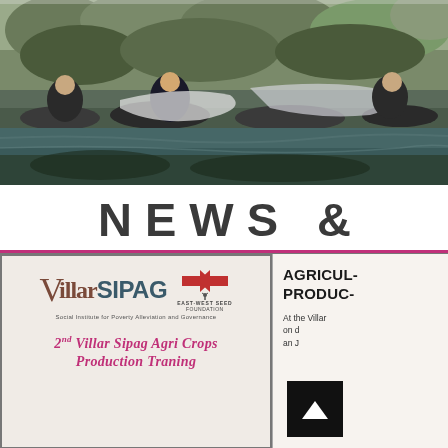[Figure (photo): People crouching near a water body or pond, handling large plastic sheets or bags. Green foliage visible in background. Outdoor setting.]
NEWS &
[Figure (photo): VillarSIPAG banner/tarpaulin with East-West Seed Foundation logo. Text reads: 2ND VILLAR SIPAG AGRI CROPS PRODUCTION TRANING]
AGRICULTURAL PRODUCTION
At the Villar... on ... an J...